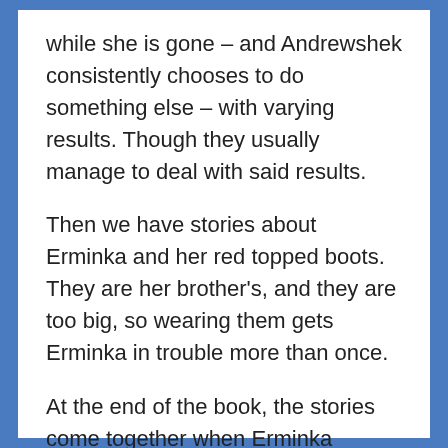while she is gone – and Andrewshek consistently chooses to do something else – with varying results. Though they usually manage to deal with said results.
Then we have stories about Erminka and her red topped boots. They are her brother's, and they are too big, so wearing them gets Erminka in trouble more than once.
At the end of the book, the stories come together when Erminka comes for a tea-party at Andrewshek's house. With poppy seed cakes.